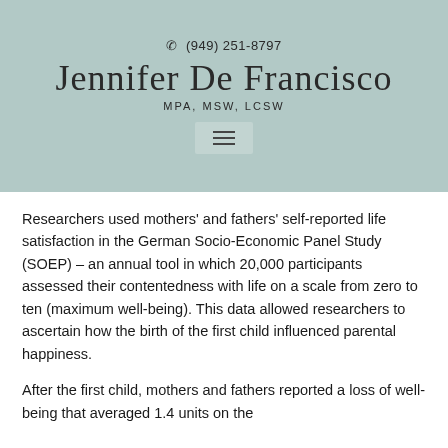☎ (949) 251-8797
Jennifer De Francisco
MPA, MSW, LCSW
Researchers used mothers' and fathers' self-reported life satisfaction in the German Socio-Economic Panel Study (SOEP) – an annual tool in which 20,000 participants assessed their contentedness with life on a scale from zero to ten (maximum well-being). This data allowed researchers to ascertain how the birth of the first child influenced parental happiness.
After the first child, mothers and fathers reported a loss of well-being that averaged 1.4 units on the